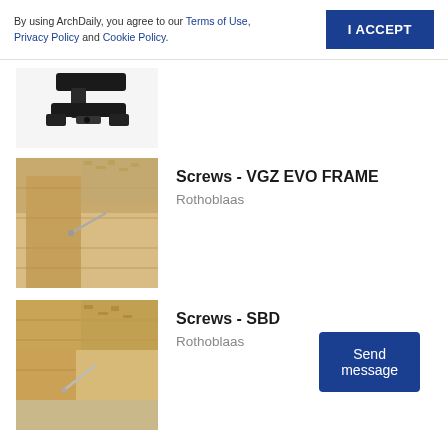By using ArchDaily, you agree to our Terms of Use, Privacy Policy and Cookie Policy.
[Figure (photo): Partial view of a black metal bracket/connector hardware piece]
[Figure (photo): Wooden frame construction showing screws in light-colored lumber boards]
Screws - VGZ EVO FRAME
Rothoblaas
[Figure (photo): Wooden corner frame construction with visible screw, light lumber on sandy surface]
Screws - SBD
Rothoblaas